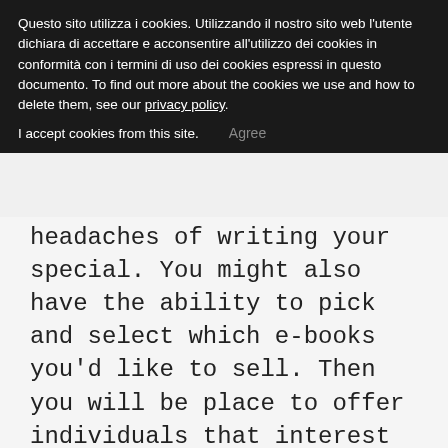Questo sito utilizza i cookies. Utilizzando il nostro sito web l'utente dichiara di accettare e acconsentire all'utilizzo dei cookies in conformità con i termini di uso dei cookies espressi in questo documento. To find out more about the cookies we use and how to delete them, see our privacy policy.
I accept cookies from this site.   Agree
headaches of writing your special. You might also have the ability to pick and select which e-books you'd like to sell. Then you will be place to offer individuals that interest you.
After establishing a website, start submitting all internet pages on the major search engines. This can be achieved through an seo promotion company or you'll be able to it